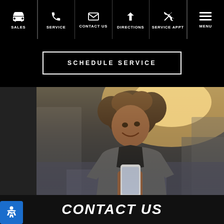SALES | SERVICE | CONTACT US | DIRECTIONS | SERVICE APPT | MENU
SCHEDULE SERVICE
[Figure (photo): Woman with curly hair smiling while looking at her smartphone outdoors on a city street, warm backlit sunlight, wearing a grey jacket over black top]
CONTACT US